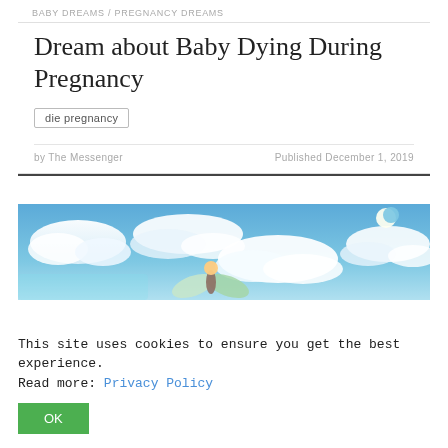BABY DREAMS / PREGNANCY DREAMS
Dream about Baby Dying During Pregnancy
die pregnancy
by The Messenger   Published December 1, 2019
[Figure (illustration): A dreamy sky scene with blue sky, white clouds, a crescent moon, and a butterfly or fairy figure floating among the clouds.]
This site uses cookies to ensure you get the best experience. Read more: Privacy Policy
OK